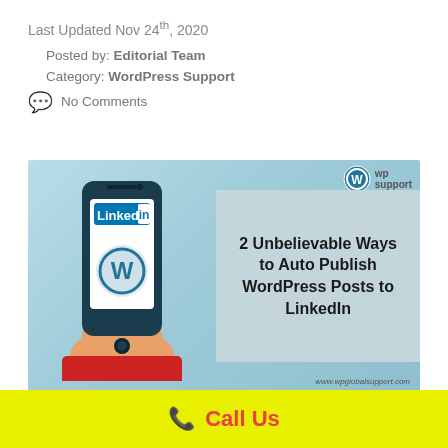Last Updated Nov 24th, 2020
Posted by: Editorial Team
Category: WordPress Support
No Comments
[Figure (illustration): Hero image showing a hand holding a smartphone with LinkedIn and WordPress logos, beside a dark overlay box reading '2 Unbelievable Ways to Auto Publish WordPress Posts to LinkedIn'. WP Global Support logo top-right, www.wpglobalsupport.com bottom-right.]
LinkedIn is for everyone who is curious about taking their professional life more significantly by looking for new...